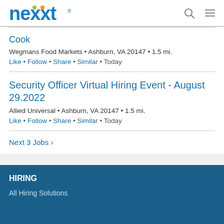nexxt [logo] [search icon] [menu icon]
Cook
Wegmans Food Markets • Ashburn, VA 20147 • 1.5 mi.
Like • Follow • Share • Similar • Today
Security Officer Virtual Hiring Event - August 29.2022
Allied Universal • Ashburn, VA 20147 • 1.5 mi.
Like • Follow • Share • Similar • Today
Next 3 Jobs ›
HIRING
All Hiring Solutions